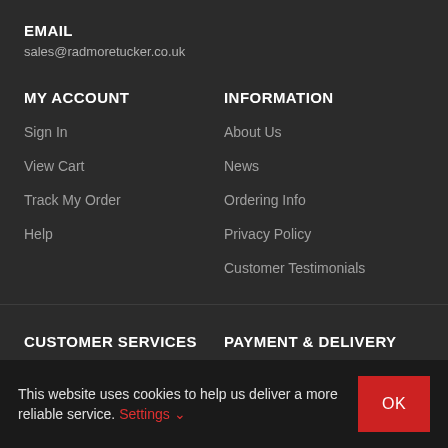EMAIL
sales@radmoretucker.co.uk
MY ACCOUNT
Sign In
View Cart
Track My Order
Help
INFORMATION
About Us
News
Ordering Info
Privacy Policy
Customer Testimonials
CUSTOMER SERVICES
PAYMENT & DELIVERY
This website uses cookies to help us deliver a more reliable service. Settings OK